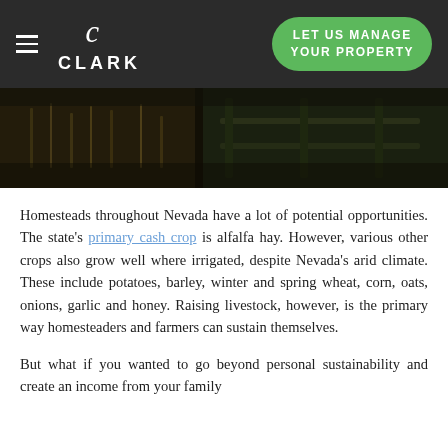CLARK | LET US MANAGE YOUR PROPERTY
[Figure (photo): Outdoor rural scene with dry grasses and wooden fence in dark, moody lighting]
Homesteads throughout Nevada have a lot of potential opportunities. The state's primary cash crop is alfalfa hay. However, various other crops also grow well where irrigated, despite Nevada's arid climate. These include potatoes, barley, winter and spring wheat, corn, oats, onions, garlic and honey. Raising livestock, however, is the primary way homesteaders and farmers can sustain themselves.
But what if you wanted to go beyond personal sustainability and create an income from your family